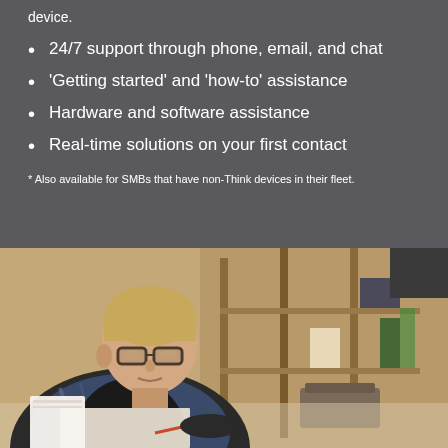device.
24/7 support through phone, email, and chat
'Getting started' and 'how-to' assistance
Hardware and software assistance
Real-time solutions on your first contact
* Also available for SMBs that have non-Think devices in their fleet.
[Figure (photo): A man with glasses wearing a black vest over a plaid shirt, leaning over a table and writing, in a workshop or studio setting with wooden shelving and equipment in the background.]